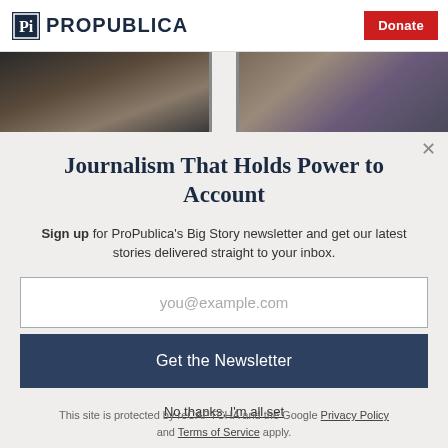ProPublica | Donate
[Figure (photo): Two photojournalism images side by side: left shows a dark interior scene, right shows people at an outdoor event with one person wearing a purple hat]
Journalism That Holds Power to Account
Sign up for ProPublica's Big Story newsletter and get our latest stories delivered straight to your inbox.
you@example.com
Get the Newsletter
No thanks, I'm all set
This site is protected by reCAPTCHA and the Google Privacy Policy and Terms of Service apply.